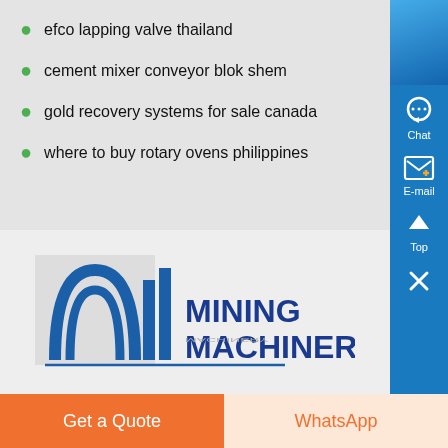efco lapping valve thailand
cement mixer conveyor blok shem
gold recovery systems for sale canada
where to buy rotary ovens philippines
[Figure (logo): Mining Machinery logo with blue arch and vertical bar graphics and text MINING MACHINERY]
Get a Quote
WhatsApp